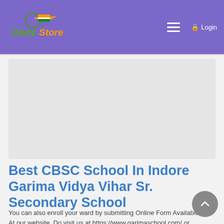Diary Store — Login
[Figure (logo): Diary Store logo with green and orange text and an arrow/flag icon]
Best CBSC School In Indore Garima Vidya Vihar Sr. Secondary School
You can also enroll your ward by submitting Online Form Available At our website. Do visit us at https://www.garimaschool.com/ or call us at 0731...